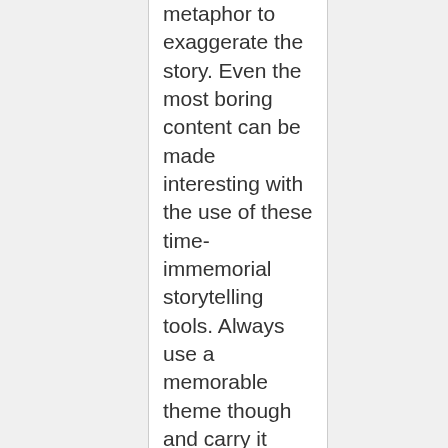metaphor to exaggerate the story. Even the most boring content can be made interesting with the use of these time-immemorial storytelling tools. Always use a memorable theme though and carry it throughout all your content. For example, if you are an